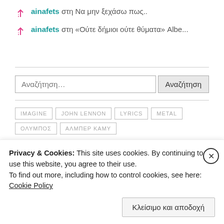ainafets στη Να μην ξεχάσω πως..
ainafets στη «Ούτε δήμιοι ούτε θύματα» Albe...
Αναζήτηση…
IMAGINE  JOHN LENNON  LYRICS  METAL  ΟΛΥΜΠΟΣ  ΑΛΜΠΕΡ ΚΑΜΥ
Privacy & Cookies: This site uses cookies. By continuing to use this website, you agree to their use.
To find out more, including how to control cookies, see here: Cookie Policy
Κλείσιμο και αποδοχή